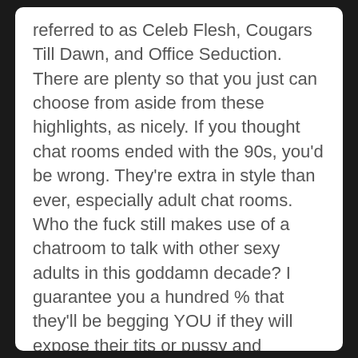referred to as Celeb Flesh, Cougars Till Dawn, and Office Seduction. There are plenty so that you just can choose from aside from these highlights, as nicely. If you thought chat rooms ended with the 90s, you'd be wrong. They're extra in style than ever, especially adult chat rooms. Who the fuck still makes use of a chatroom to talk with other sexy adults in this goddamn decade? I guarantee you a hundred % that they'll be begging YOU if they will expose their tits or pussy and prepare for a recreation of masturbation! Believe me, the women that hang out on these sites usually are not looking for a boring 1 on 1 "conversation" and more so want the